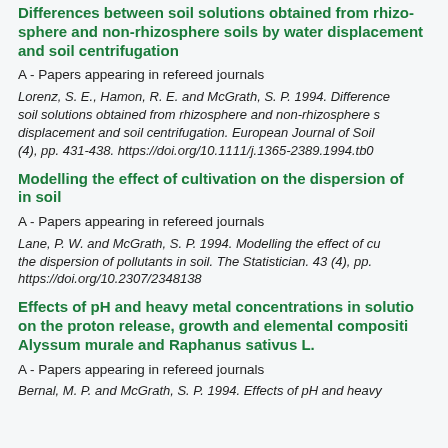Differences between soil solutions obtained from rhizosphere and non-rhizosphere soils by water displacement and soil centrifugation
A - Papers appearing in refereed journals
Lorenz, S. E., Hamon, R. E. and McGrath, S. P. 1994. Differences between soil solutions obtained from rhizosphere and non-rhizosphere soils by water displacement and soil centrifugation. European Journal of Soil Science. 45 (4), pp. 431-438. https://doi.org/10.1111/j.1365-2389.1994.tb00...
Modelling the effect of cultivation on the dispersion of pollutants in soil
A - Papers appearing in refereed journals
Lane, P. W. and McGrath, S. P. 1994. Modelling the effect of cultivation on the dispersion of pollutants in soil. The Statistician. 43 (4), pp. ... https://doi.org/10.2307/2348138
Effects of pH and heavy metal concentrations in solution on the proton release, growth and elemental composition of Alyssum murale and Raphanus sativus L.
A - Papers appearing in refereed journals
Bernal, M. P. and McGrath, S. P. 1994. Effects of pH and heavy...